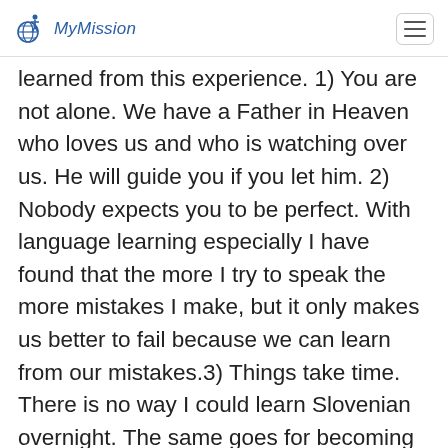MyMission
learned from this experience. 1) You are not alone. We have a Father in Heaven who loves us and who is watching over us. He will guide you if you let him. 2) Nobody expects you to be perfect. With language learning especially I have found that the more I try to speak the more mistakes I make, but it only makes us better to fail because we can learn from our mistakes.3) Things take time. There is no way I could learn Slovenian overnight. The same goes for becoming perfect like Jesus Christ. Each day is a new day to make progress towards our goals.4) Set goals!! "Through goals and plans, our hopes are transformed